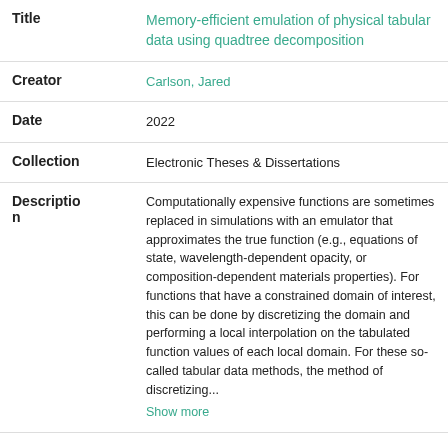| Field | Value |
| --- | --- |
| Title | Memory-efficient emulation of physical tabular data using quadtree decomposition |
| Creator | Carlson, Jared |
| Date | 2022 |
| Collection | Electronic Theses & Dissertations |
| Description | Computationally expensive functions are sometimes replaced in simulations with an emulator that approximates the true function (e.g., equations of state, wavelength-dependent opacity, or composition-dependent materials properties). For functions that have a constrained domain of interest, this can be done by discretizing the domain and performing a local interpolation on the tabulated function values of each local domain. For these so-called tabular data methods, the method of discretizing... Show more |